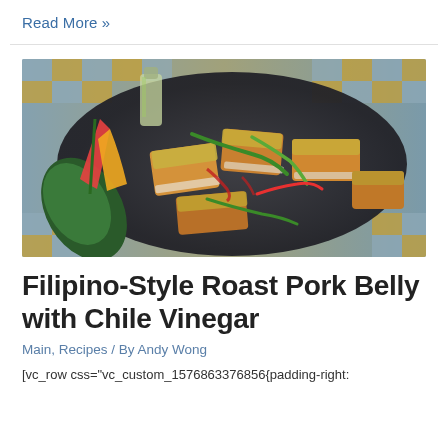Read More »
[Figure (photo): A dark plate filled with pieces of Filipino-style roast pork belly with crispy golden skin, garnished with green and red chili peppers, served on a blue and gold checkered cloth with tropical leaves and a glass bottle in the background.]
Filipino-Style Roast Pork Belly with Chile Vinegar
Main, Recipes / By Andy Wong
[vc_row css="vc_custom_1576863376856{padding-right: